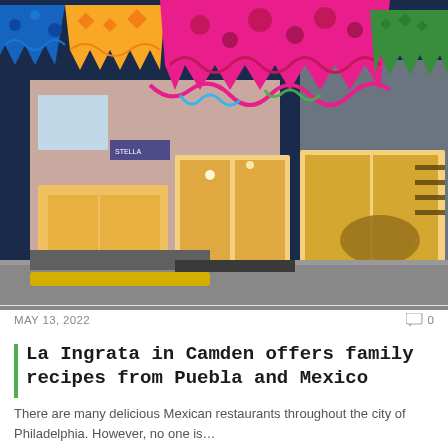[Figure (photo): Exterior nighttime photo of La Ingrata restaurant in Camden. The storefront shows large glass windows and doors lit warmly from inside, revealing a circular bar and shelves. Colorful papel picado banners (blue, yellow, pink) hang decoratively in the foreground. The building has a pink brick section and a grey stone section. A yellow parking curb is visible in the foreground.]
MAY 13, 2022
0
La Ingrata in Camden offers family recipes from Puebla and Mexico
There are many delicious Mexican restaurants throughout the city of Philadelphia. However, no one is…